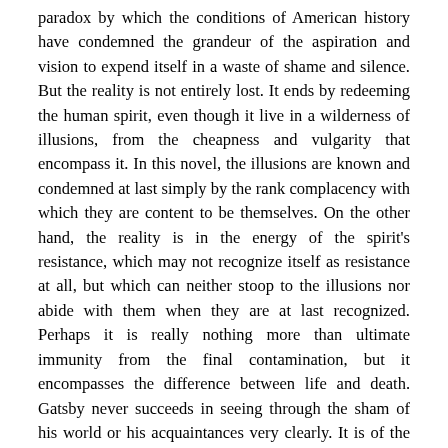paradox by which the conditions of American history have condemned the grandeur of the aspiration and vision to expend itself in a waste of shame and silence. But the reality is not entirely lost. It ends by redeeming the human spirit, even though it live in a wilderness of illusions, from the cheapness and vulgarity that encompass it. In this novel, the illusions are known and condemned at last simply by the rank complacency with which they are content to be themselves. On the other hand, the reality is in the energy of the spirit's resistance, which may not recognize itself as resistance at all, but which can neither stoop to the illusions nor abide with them when they are at last recognized. Perhaps it is really nothing more than ultimate immunity from the final contamination, but it encompasses the difference between life and death. Gatsby never succeeds in seeing through the sham of his world or his acquaintances very clearly. It is of the essence of his romantic American vision that it should lack the seasoned powers of discrimination. But it invests those illusions with its own faith, and thus it discovers its projected goodness in the frauds of its crippled world. The Great Gatsby becomes the acting out of the tragedy of the American vision. It is a vision totally untouched by the scales of values that order life in a society governed by traditional manners; and Fitzgerald knows that although it